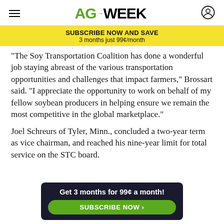AGWEEK
SUBSCRIBE NOW AND SAVE
3 months just 99¢/month
“The Soy Transportation Coalition has done a wonderful job staying abreast of the various transportation opportunities and challenges that impact farmers,” Brossart said. “I appreciate the opportunity to work on behalf of my fellow soybean producers in helping ensure we remain the most competitive in the global marketplace.”
Joel Schreurs of Tyler, Minn., concluded a two-year term as vice chairman, and reached his nine-year limit for total service on the STC board.
[Figure (other): Dark banner advertisement: 'Get 3 months for 99¢ a month!' with green SUBSCRIBE NOW button]